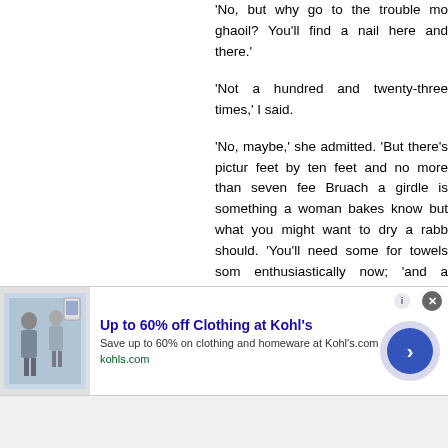'No, but why go to the trouble mo ghaoil? You'll find a nail here and there.'
'Not a hundred and twenty-three times,' I said.
'No, maybe,' she admitted. 'But there's pictures feet by ten feet and no more than seven feet. Bruach a girdle is something a woman bakes know but what you might want to dry a rabb should. ‘You'll need some for towels som enthusiastically now; 'and a holder for your feathers for the hearth. You have no man,' s needs an awful lot of nails in a house,' she told
I surveyed my rusty harvest. I'd be dammed between sips of tea Sheena sighed for my imp
'My, but your new windows are beautiful just,' stare out at the sea. The windows had made a of the bay which today was full of sunshine an busily in the shingle and serenaded the quies Above the outer islands comically shaped clou
[Figure (other): Advertisement banner for Kohl's clothing sale showing 'Up to 60% off Clothing at Kohl's', with image of people, Save up to 60% on clothing and homeware at Kohl's.com, kohls.com URL, close button, and circular arrow button]